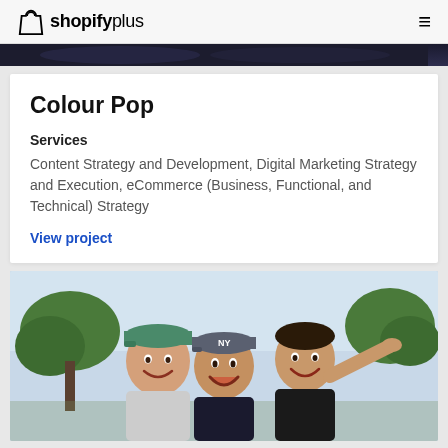shopify plus
[Figure (photo): Dark banner image at top of page content area]
Colour Pop
Services
Content Strategy and Development, Digital Marketing Strategy and Execution, eCommerce (Business, Functional, and Technical) Strategy
View project
[Figure (photo): Three smiling young people outdoors; two men and a woman wearing baseball caps, laughing and posing together]